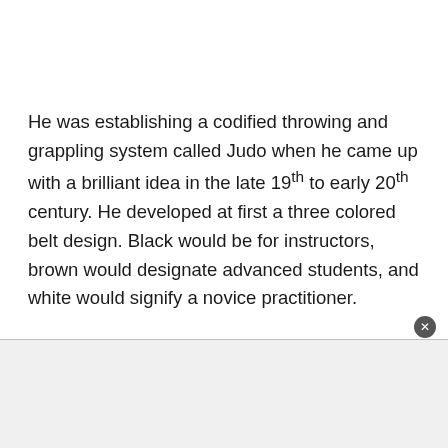He was establishing a codified throwing and grappling system called Judo when he came up with a brilliant idea in the late 19th to early 20th century. He developed at first a three colored belt design. Black would be for instructors, brown would designate advanced students, and white would signify a novice practitioner.
[Figure (other): Advertisement banner area at the bottom of the page with a close button (X) in the top-right corner.]